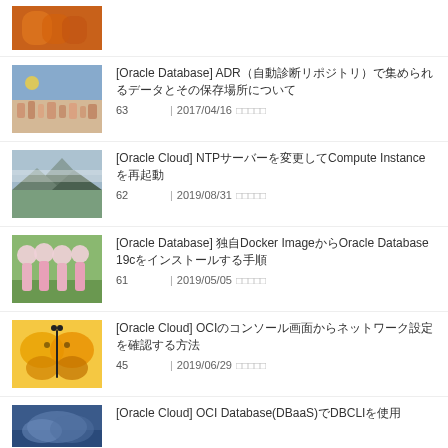(image thumbnail - orange/hands)
[Oracle Database] ADR（自動診断リポジトリ）で集められるデータとその保存場所について
63 | 2017/04/16
[Oracle Cloud] NTPサーバーを変更してCompute Instanceを再起動
62 | 2019/08/31
[Oracle Database] 独自Docker Imageを使用したOracle Database 19cのインストール手順
61 | 2019/05/05
[Oracle Cloud] OCIのコンソール画面からネットワーク設定を確認する方法
45 | 2019/06/29
[Oracle Cloud] OCI Database(DBaaS)でDBCLIを使用